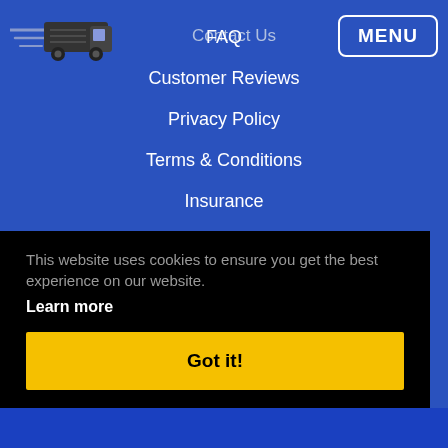[Figure (logo): Delivery truck logo with motion lines on blue background]
Contact Us
MENU
FAQ
Customer Reviews
Privacy Policy
Terms & Conditions
Insurance
Sitemap
This website uses cookies to ensure you get the best experience on our website.
Learn more
Got it!